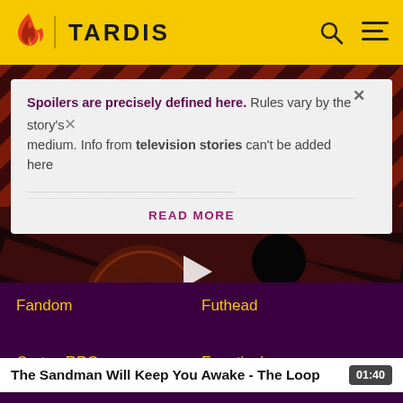TARDIS
Spoilers are precisely defined here. Rules vary by the story's medium. Info from television stories can't be added here
READ MORE
[Figure (screenshot): The Sandman Will Keep You Awake - The Loop video thumbnail showing THE LOOP branding on a dark diagonal striped background with a play button]
The Sandman Will Keep You Awake - The Loop  01:40
Fandom
Futhead
Cortex RPG
Fanatical